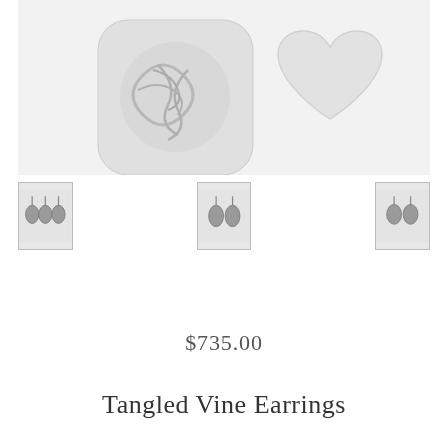[Figure (photo): Main product image showing two silver jewelry pieces on a light gray background: a circular vine/tangle design ring or pendant on the left and a heart-shaped piece on the right, both in silver/white tones]
[Figure (photo): Thumbnail 1: Three small drop earrings with gray gemstones on silver hooks, displayed on a light background]
[Figure (photo): Thumbnail 2: Two drop earrings with gray teardrop gemstones on silver hooks, displayed on a light background]
[Figure (photo): Thumbnail 3: Two drop earrings with gray oval gemstones on silver hooks, displayed on a light background]
$735.00
Tangled Vine Earrings